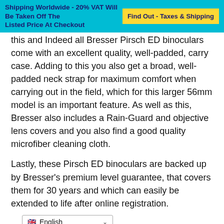Shipping Worldwide - 20% VAT Will Be Taken Off The Listed Price At Checkout | Find Out - Taxes & Shipping
this and indeed all Bresser Pirsch ED binoculars come with an excellent quality, well-padded, carry case. Adding to this you also get a broad, well-padded neck strap for maximum comfort when carrying out in the field, which for this larger 56mm model is an important feature. As well as this, Bresser also includes a Rain-Guard and objective lens covers and you also find a good quality microfiber cleaning cloth.
Lastly, these Pirsch ED binoculars are backed up by Bresser's premium level guarantee, that covers them for 30 years and which can easily be extended to life after online registration.
English